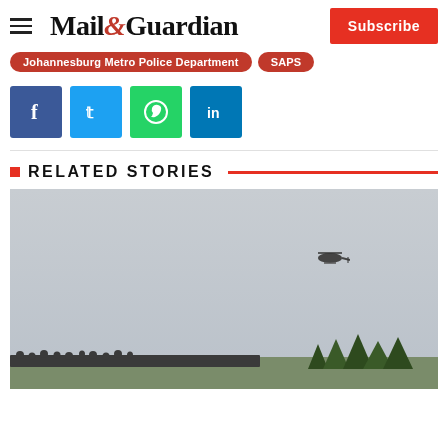Mail&Guardian — Subscribe
Johannesburg Metro Police Department
SAPS
[Figure (other): Social share buttons: Facebook, Twitter, WhatsApp, LinkedIn]
RELATED STORIES
[Figure (photo): Outdoor scene with overcast sky, a helicopter flying overhead, crowd of people silhouetted at the bottom near trees]